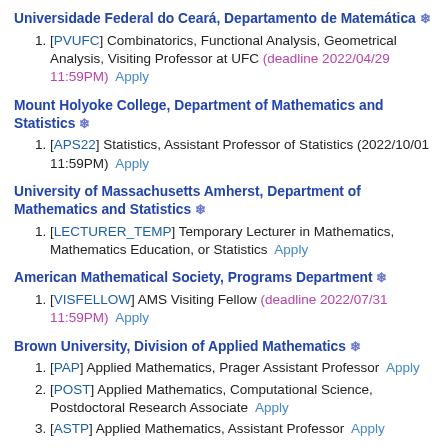Universidade Federal do Ceará, Departamento de Matemática ❄
[PVUFC] Combinatorics, Functional Analysis, Geometrical Analysis, Visiting Professor at UFC (deadline 2022/04/29 11:59PM)  Apply
Mount Holyoke College, Department of Mathematics and Statistics ❄
[APS22] Statistics, Assistant Professor of Statistics (2022/10/01 11:59PM)  Apply
University of Massachusetts Amherst, Department of Mathematics and Statistics ❄
[LECTURER_TEMP] Temporary Lecturer in Mathematics, Mathematics Education, or Statistics  Apply
American Mathematical Society, Programs Department ❄
[VISFELLOW] AMS Visiting Fellow (deadline 2022/07/31 11:59PM)  Apply
Brown University, Division of Applied Mathematics ❄
[PAP] Applied Mathematics, Prager Assistant Professor  Apply
[POST] Applied Mathematics, Computational Science, Postdoctoral Research Associate  Apply
[ASTP] Applied Mathematics, Assistant Professor  Apply
Boston College, Computer Science ❄